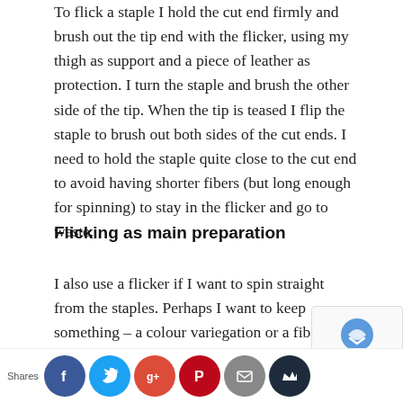To flick a staple I hold the cut end firmly and brush out the tip end with the flicker, using my thigh as support and a piece of leather as protection. I turn the staple and brush the other side of the tip. When the tip is teased I flip the staple to brush out both sides of the cut ends. I need to hold the staple quite close to the cut end to avoid having shorter fibers (but long enough for spinning) to stay in the flicker and go to waste.
Flicking as main preparation
I also use a flicker if I want to spin straight from the staples. Perhaps I want to keep something – a colour variegation or a fiber distribution. The flicker opens up the staple without disturbing the fibers in the staple too much and makes the spinning smoother. I used a flicker for my Icelandic fleece that I spun raw from the lock, tease the staple with a flicker first, then c…